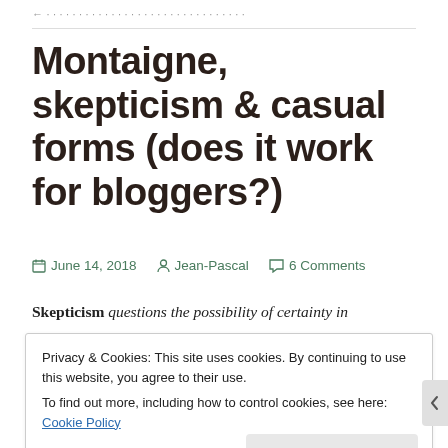(cropped navigation/breadcrumb text)
Montaigne, skepticism & casual forms (does it work for bloggers?)
June 14, 2018  Jean-Pascal  6 Comments
Skepticism questions the possibility of certainty in
Privacy & Cookies: This site uses cookies. By continuing to use this website, you agree to their use.
To find out more, including how to control cookies, see here: Cookie Policy

Close and accept